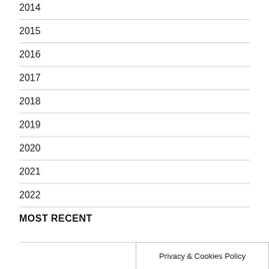2014
2015
2016
2017
2018
2019
2020
2021
2022
MOST RECENT
Privacy & Cookies Policy